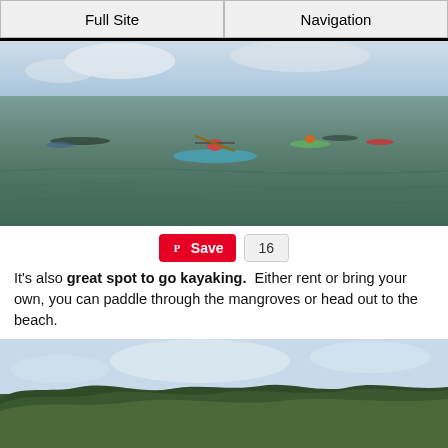Full Site | Navigation
[Figure (photo): People kayaking on open water with mangrove-lined horizon and partly cloudy sky]
Save 16
It's also great spot to go kayaking. Either rent or bring your own, you can paddle through the mangroves or head out to the beach.
[Figure (photo): Dense tree canopy and mangroves under a partly cloudy sky]
Cookies help us deliver our services. By using our services, you agree to our use of cookies. Learn more.
Got it!